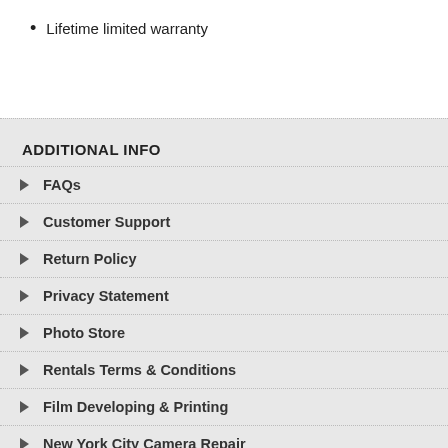Lifetime limited warranty
ADDITIONAL INFO
FAQs
Customer Support
Return Policy
Privacy Statement
Photo Store
Rentals Terms & Conditions
Film Developing & Printing
New York City Camera Repair